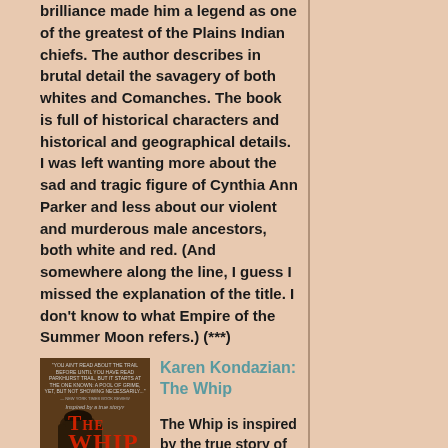brilliance made him a legend as one of the greatest of the Plains Indian chiefs. The author describes in brutal detail the savagery of both whites and Comanches. The book is full of historical characters and historical and geographical details. I was left wanting more about the sad and tragic figure of Cynthia Ann Parker and less about our violent and murderous male ancestors, both white and red. (And somewhere along the line, I guess I missed the explanation of the title. I don't know to what Empire of the Summer Moon refers.) (***)
[Figure (illustration): Book cover of 'The Whip' by Karen Kondazian showing a silhouetted figure in a long coat and hat against a sepia/dark background, with red title text]
Karen Kondazian: The Whip
The Whip is inspired by the true story of a woman, Charlotte "Charley" Parkhurst (1812-1879) who lived most of her extraordinary